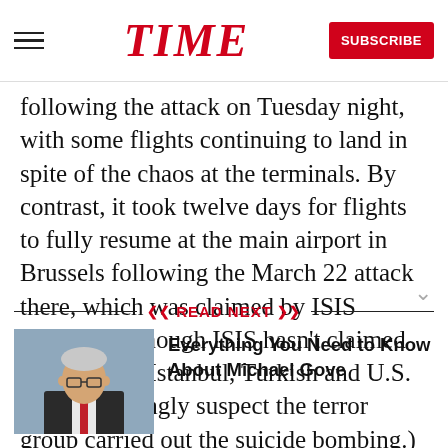TIME | SUBSCRIBE
following the attack on Tuesday night, with some flights continuing to land in spite of the chaos at the terminals. By contrast, it took twelve days for flights to fully resume at the main airport in Brussels following the March 22 attack there, which was claimed by ISIS militants. (Though ISIS hasn't claimed the attack in Istanbul, Turkish and U.S. officials strongly suspect the terror group carried out the suicide bombing.)
READ NEXT
[Figure (photo): Photo of Michael Gove, a man wearing glasses and a dark suit with a red tie]
Everything You Need to Know About Michael Gove